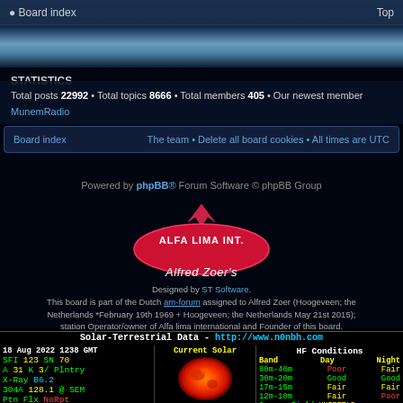Board index   Top
STATISTICS
Total posts 22992 • Total topics 8666 • Total members 405 • Our newest member MunemRadio
Board index   The team • Delete all board cookies • All times are UTC
Powered by phpBB® Forum Software © phpBB Group
[Figure (logo): Alfa Lima Int. logo with crown graphic and Alfred Zoer's script text]
Designed by ST Software. This board is part of the Dutch am-forum assigned to Alfred Zoer (Hoogeveen; the Netherlands *February 19th 1969 + Hoogeveen; the Netherlands May 21st 2015); station Operator/owner of Alfa lima international and Founder of this board. We modulate the air as freely as we breathe it. We challenge those, who claims ownership and control of the natural elements of the Earth.*
Solar-Terrestrial Data - http://www.n0nbh.com
| Solar Data | Current Solar | HF Conditions |
| --- | --- | --- |
| 18 Aug 2022 1238 GMT | Current Solar | HF Conditions |
| SFI 123  SN  70 |  | Band  Day  Night |
| A 31  K 3/  Plntry |  | 80m-40m  Poor  Fair |
| X-Ray B6.2 |  | 30m-20m  Good  Good |
| 304A  128.1  @ SEM |  | 17m-15m  Fair  Fair |
| Ptn Flx  NoRpt |  | 12m-10m  Fair  Poor |
| Elc Flx  NoRpt |  | Geomag Field  UNSETTLD |
| Aurora  5/n=1.99 |  | Sig Noise Lvl  S2-S3 |
| MUF Boulder  12.13 |  | (C) Paul L Herrman 2021 |